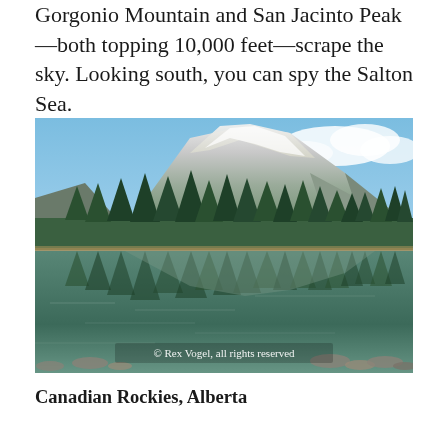Gorgonio Mountain and San Jacinto Peak—both topping 10,000 feet—scrape the sky. Looking south, you can spy the Salton Sea.
[Figure (photo): Scenic landscape photo of a mountain with snow-capped peak reflected in a calm lake, with tall evergreen pine trees in the foreground. Watermark reads: © Rex Vogel, all rights reserved]
Canadian Rockies, Alberta